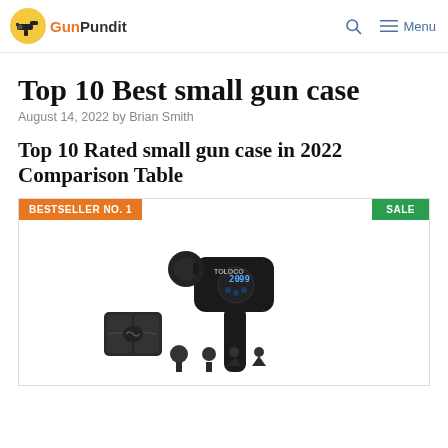GunPundit | Menu
Top 10 Best small gun case
August 14, 2022 by Brian Smith
Top 10 Rated small gun case in 2022 Comparison Table
[Figure (photo): Bestseller No. 1 product listing with SALE badge, showing a TOLOCO percussion massage gun with attachments and carrying case]